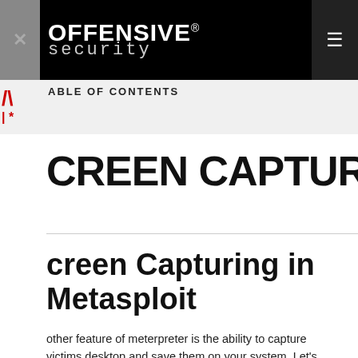[Figure (logo): Offensive Security logo with white text on black background. 'OFFENSIVE' in bold uppercase with registered trademark symbol, 'security' in monospace below.]
ABLE OF CONTENTS
CREEN CAPTURE
creen Capturing in Metasploit
other feature of meterpreter is the ability to capture victims desktop and save them on your system. Let's